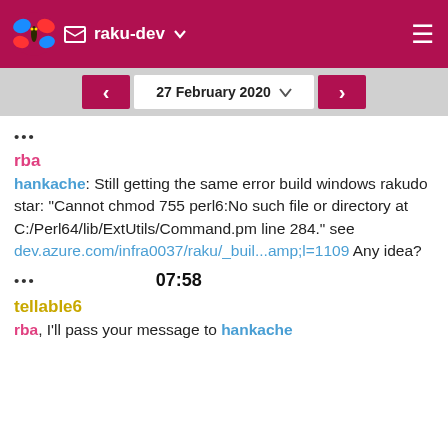raku-dev
27 February 2020
...
rba
hankache: Still getting the same error build windows rakudo star: "Cannot chmod 755 perl6:No such file or directory at C:/Perl64/lib/ExtUtils/Command.pm line 284." see dev.azure.com/infra0037/raku/_buil...amp;l=1109 Any idea?
... 07:58
tellable6
rba, I'll pass your message to hankache